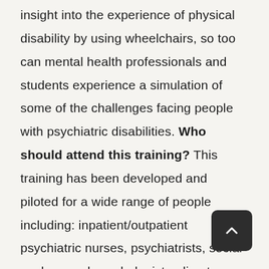insight into the experience of physical disability by using wheelchairs, so too can mental health professionals and students experience a simulation of some of the challenges facing people with psychiatric disabilities. Who should attend this training? This training has been developed and piloted for a wide range of people including: inpatient/outpatient psychiatric nurses, psychiatrists, social workers and psychologists; direct care workers in residential, day treatment and psychosocial